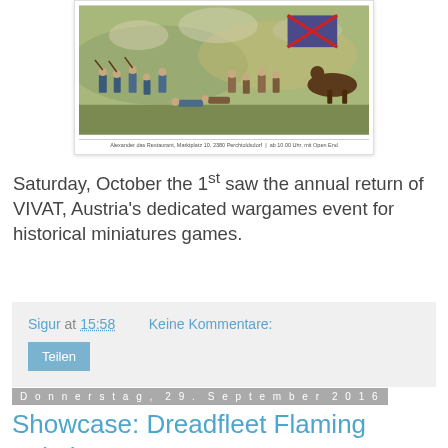[Figure (photo): Historical battle scene painting showing soldiers in combat, with flags and weapons. Below the image is a caption bar with text: 'Alexander das Restaurant, Marktplatz 10, 2380 Perchtoldsdorf | ab 10.00 Uhr, mit Open End']
Saturday, October the 1st saw the annual return of VIVAT, Austria's dedicated wargames event for historical miniatures games.
Sigur at 15:58    Keine Kommentare:
Teilen
Donnerstag, 29. September 2016
Showcase: Dreadfleet Flaming Scimitar